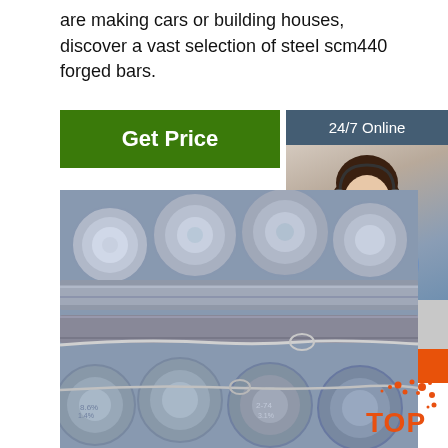are making cars or building houses, discover a vast selection of steel scm440 forged bars.
[Figure (other): Green 'Get Price' button]
[Figure (other): 24/7 Online customer service panel with woman wearing headset, 'Click here for free chat!' text, and orange QUOTATION button]
[Figure (photo): Photo of steel scm440 forged round bars bundled together with wire, showing circular cross-sections with markings]
[Figure (other): TOP badge with orange dots/splash design in bottom right corner]